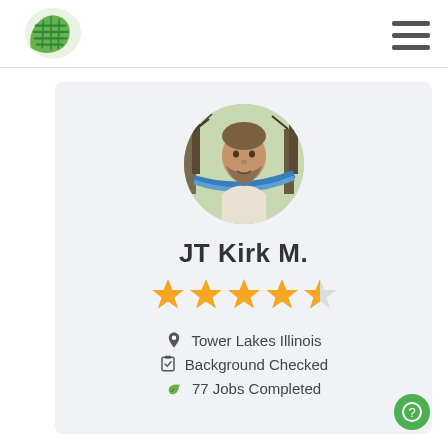GreenPal logo and navigation menu
[Figure (photo): Circular profile photo of a middle-aged man with short beard, sitting in a hammock outdoors with bare trees in background]
JT Kirk M.
[Figure (other): 5-star rating display showing approximately 4.5 stars in gold/yellow]
Tower Lakes Illinois
Background Checked
77 Jobs Completed